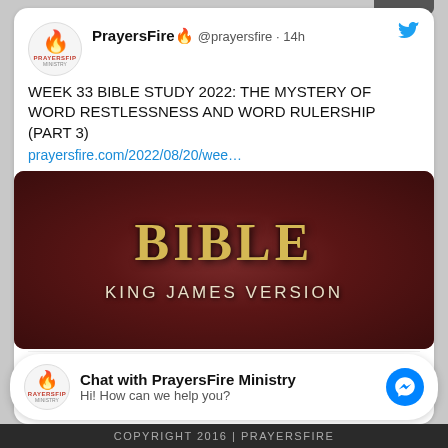PrayersFire 🔥 @prayersfire · 14h
WEEK 33 BIBLE STUDY 2022: THE MYSTERY OF WORD RESTLESSNESS AND WORD RULERSHIP (PART 3)
prayersfire.com/2022/08/20/wee…
[Figure (photo): Bible book cover - King James Version, dark brown leather texture with gold lettering showing 'BIBLE' in large serif font and 'KING JAMES VERSION' in smaller spaced letters below]
prayersfire.com
WEEK 33 BIBLE STUDY 2022: THE MYSTERY OF WORD
Chat with PrayersFire Ministry
Hi! How can we help you?
COPYRIGHT 2016 | PRAYERSFIRE